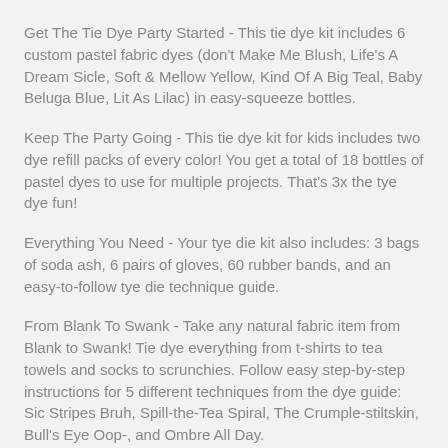Get The Tie Dye Party Started - This tie dye kit includes 6 custom pastel fabric dyes (don't Make Me Blush, Life's A Dream Sicle, Soft & Mellow Yellow, Kind Of A Big Teal, Baby Beluga Blue, Lit As Lilac) in easy-squeeze bottles.
Keep The Party Going - This tie dye kit for kids includes two dye refill packs of every color! You get a total of 18 bottles of pastel dyes to use for multiple projects. That's 3x the tye dye fun!
Everything You Need - Your tye die kit also includes: 3 bags of soda ash, 6 pairs of gloves, 60 rubber bands, and an easy-to-follow tye die technique guide.
From Blank To Swank - Take any natural fabric item from Blank to Swank! Tie dye everything from t-shirts to tea towels and socks to scrunchies. Follow easy step-by-step instructions for 5 different techniques from the dye guide: Sic Stripes Bruh, Spill-the-Tea Spiral, The Crumple-stiltskin, Bull's Eye Oop-, and Ombre All Day.